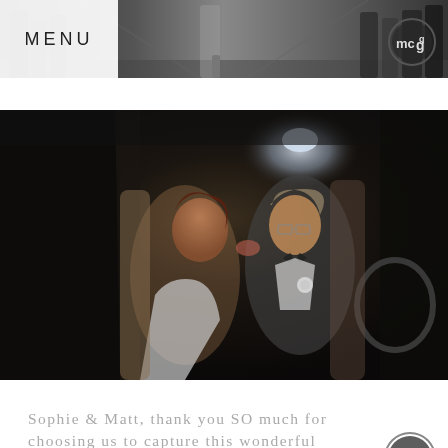[Figure (photo): Black and white wedding photo showing guests walking down a stone corridor, shot from behind. Bride in heels visible in center.]
MENU
[Figure (photo): Color wedding photo of a bride and groom kissing inside a luxury car at night. Groom wears a bow tie. mcg watermark logo visible in bottom right.]
Sophie & Matt, thank you SO much for choosing us to capture this wonderful